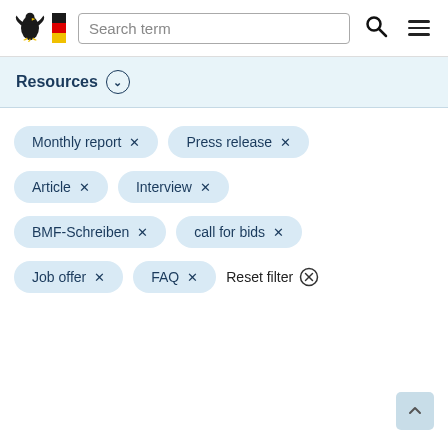Search term
Resources
Monthly report ×
Press release ×
Article ×
Interview ×
BMF-Schreiben ×
call for bids ×
Job offer ×
FAQ ×
Reset filter ⊗